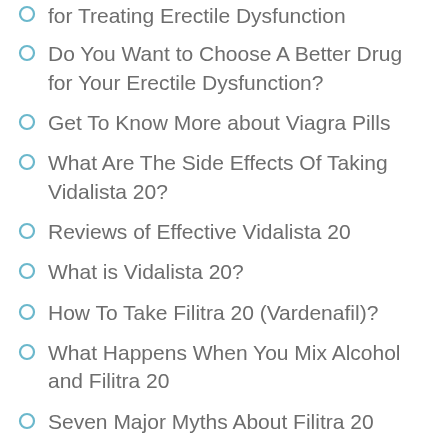for Treating Erectile Dysfunction
Do You Want to Choose A Better Drug for Your Erectile Dysfunction?
Get To Know More about Viagra Pills
What Are The Side Effects Of Taking Vidalista 20?
Reviews of Effective Vidalista 20
What is Vidalista 20?
How To Take Filitra 20 (Vardenafil)?
What Happens When You Mix Alcohol and Filitra 20
Seven Major Myths About Filitra 20
Vilitra 60 Side Effects That Should Be Feared
Reviews of Using Vilitra 60